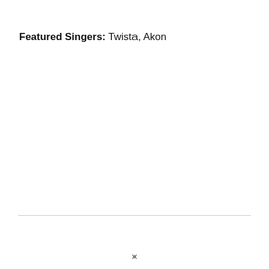Featured Singers: Twista, Akon
x